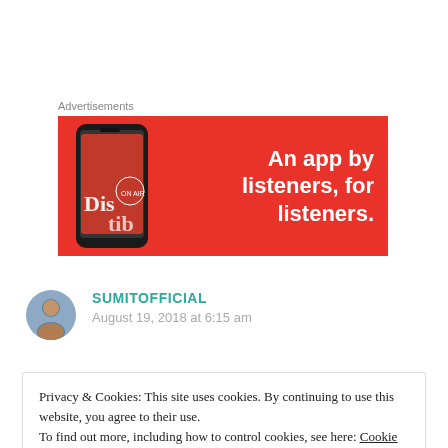Advertisements
[Figure (illustration): Red advertisement banner for a music/podcast app with text 'An app by listeners, for listeners.' and a smartphone showing app interface on the left side.]
SUMITOFFICIAL
August 19, 2018 at 6:15 am
Privacy & Cookies: This site uses cookies. By continuing to use this website, you agree to their use.
To find out more, including how to control cookies, see here: Cookie Policy
Close and accept